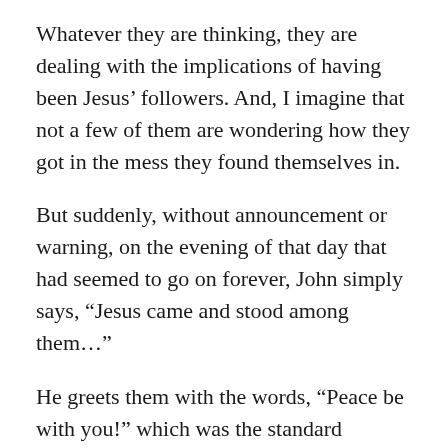Whatever they are thinking, they are dealing with the implications of having been Jesus' followers. And, I imagine that not a few of them are wondering how they got in the mess they found themselves in.
But suddenly, without announcement or warning, on the evening of that day that had seemed to go on forever, John simply says, “Jesus came and stood among them…”
He greets them with the words, “Peace be with you!” which was the standard greeting among Jews, the greeting that God’s peace would rest on the person or family to whom one was speaking.